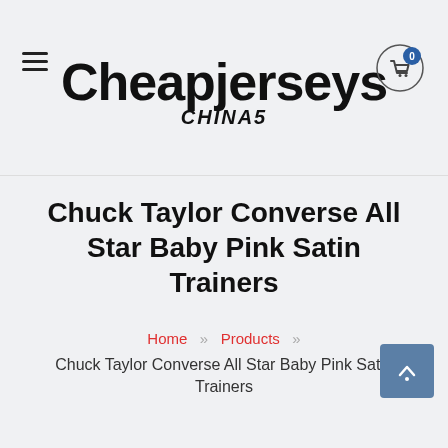Cheapjerseys CHINA5
Chuck Taylor Converse All Star Baby Pink Satin Trainers
Home » Products » Chuck Taylor Converse All Star Baby Pink Satin Trainers